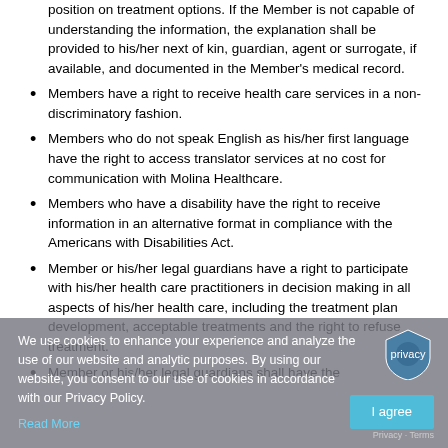position on treatment options. If the Member is not capable of understanding the information, the explanation shall be provided to his/her next of kin, guardian, agent or surrogate, if available, and documented in the Member's medical record.
Members have a right to receive health care services in a non-discriminatory fashion.
Members who do not speak English as his/her first language have the right to access translator services at no cost for communication with Molina Healthcare.
Members who have a disability have the right to receive information in an alternative format in compliance with the Americans with Disabilities Act.
Member or his/her legal guardians have a right to participate with his/her health care practitioners in decision making in all aspects of his/her health care, including the treatment plan development, acceptable treatments and the right to refuse treatment.
Member or his/her legal guardians shall have the